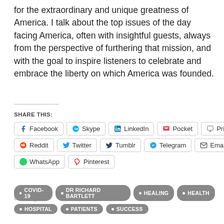for the extraordinary and unique greatness of America. I talk about the top issues of the day facing America, often with insightful guests, always from the perspective of furthering that mission, and with the goal to inspire listeners to celebrate and embrace the liberty on which America was founded.
SHARE THIS:
[Figure (other): Social sharing buttons: Facebook, Skype, LinkedIn, Pocket, Print, Reddit, Twitter, Tumblr, Telegram, Email, WhatsApp, Pinterest]
Loading...
• COVID-19  • DR RICHARD BARTLETT  • HEALING  • HEALTH  • HOSPITAL  • PATIENTS  • SUCCESS